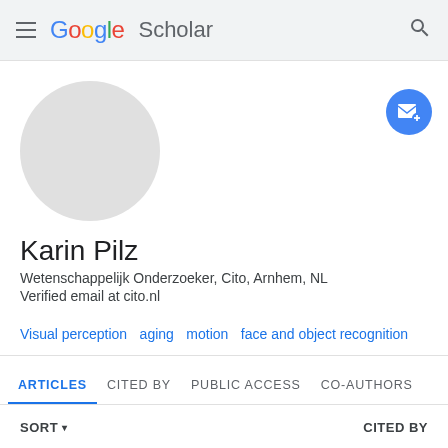Google Scholar
[Figure (illustration): Circular grey avatar placeholder image]
[Figure (illustration): Blue circular follow/email button with envelope icon and plus sign]
Karin Pilz
Wetenschappelijk Onderzoeker, Cito, Arnhem, NL
Verified email at cito.nl
Visual perception
aging
motion
face and object recognition
testing and measurement
ARTICLES   CITED BY   PUBLIC ACCESS   CO-AUTHORS
SORT ▾   CITED BY